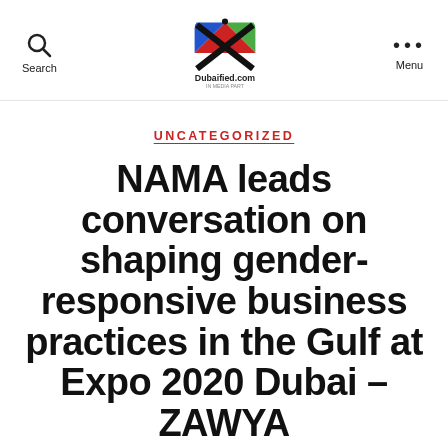Search   Dubaified.com   Menu
UNCATEGORIZED
NAMA leads conversation on shaping gender-responsive business practices in the Gulf at Expo 2020 Dubai – ZAWYA